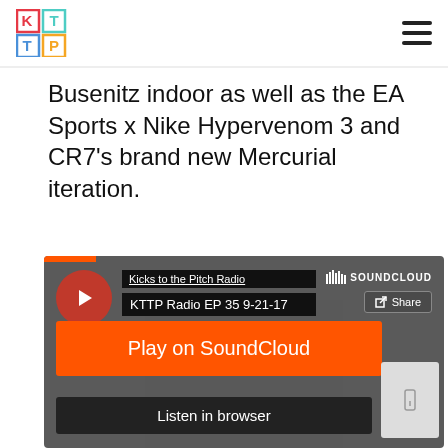KTTP Logo and navigation
Busenitz indoor as well as the EA Sports x Nike Hypervenom 3 and CR7’s brand new Mercurial iteration.
[Figure (screenshot): SoundCloud embedded player showing 'Kicks to the Pitch Radio' - KTTP Radio EP 35 9-21-17, with play button, Share button, SoundCloud branding, orange Play on SoundCloud button, and Listen in browser button]